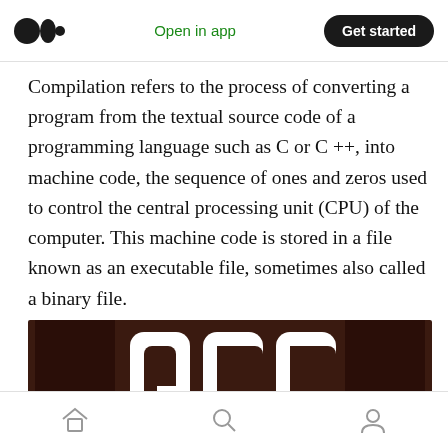Medium logo | Open in app | Get started
Compilation refers to the process of converting a program from the textual source code of a programming language such as C or C++, into machine code, the sequence of ones and zeros used to control the central processing unit (CPU) of the computer. This machine code is stored in a file known as an executable file, sometimes also called a binary file.
[Figure (photo): Dark brown/maroon background with large bold white letters 'GCC' in a rounded-square style font, partially visible at bottom of frame.]
Home | Search | Profile navigation icons